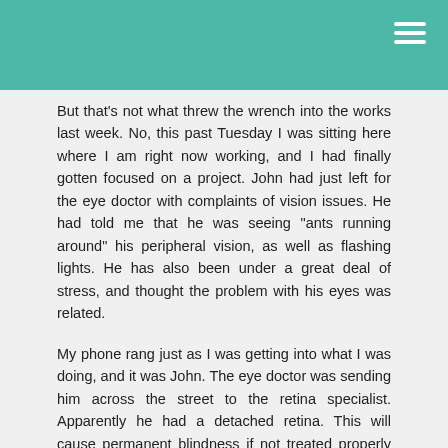while. He's an attention whore. A cute one, but a whore.
But that's not what threw the wrench into the works last week. No, this past Tuesday I was sitting here where I am right now working, and I had finally gotten focused on a project. John had just left for the eye doctor with complaints of vision issues. He had told me that he was seeing "ants running around" his peripheral vision, as well as flashing lights. He has also been under a great deal of stress, and thought the problem with his eyes was related.
My phone rang just as I was getting into what I was doing, and it was John. The eye doctor was sending him across the street to the retina specialist. Apparently he had a detached retina. This will cause permanent blindness if not treated properly and immediately. I could get into the whole story about how he had to get clearance from his primary care doctor before the surgery and how they said they could not fit him in today and how I drove down there like a lunatic to beg them to see him NOW, but ain't nobody got time for that today.